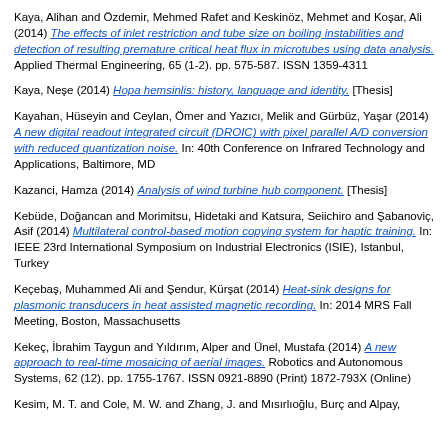Kaya, Alihan and Özdemir, Mehmed Rafet and Keskinöz, Mehmet and Koşar, Ali (2014) The effects of inlet restriction and tube size on boiling instabilities and detection of resulting premature critical heat flux in microtubes using data analysis. Applied Thermal Engineering, 65 (1-2). pp. 575-587. ISSN 1359-4311
Kaya, Neşe (2014) Hopa hemsinlis: history, language and identity. [Thesis]
Kayahan, Hüseyin and Ceylan, Ömer and Yazıcı, Melik and Gürbüz, Yaşar (2014) A new digital readout integrated circuit (DROIC) with pixel parallel A/D conversion with reduced quantization noise. In: 40th Conference on Infrared Technology and Applications, Baltimore, MD
Kazanci, Hamza (2014) Analysis of wind turbine hub component. [Thesis]
Kebüde, Doğancan and Morimitsu, Hidetaki and Katsura, Seiichiro and Şabanoviç, Asif (2014) Multilateral control-based motion copying system for haptic training. In: IEEE 23rd International Symposium on Industrial Electronics (ISIE), Istanbul, Turkey
Keçebaş, Muhammed Ali and Şendur, Kürşat (2014) Heat-sink designs for plasmonic transducers in heat assisted magnetic recording. In: 2014 MRS Fall Meeting, Boston, Massachusetts
Kekeç, İbrahim Taygun and Yıldırım, Alper and Ünel, Mustafa (2014) A new approach to real-time mosaicing of aerial images. Robotics and Autonomous Systems, 62 (12). pp. 1755-1767. ISSN 0921-8890 (Print) 1872-793X (Online)
Kesim, M. T. and Cole, M. W. and Zhang, J. and Mısırlıoğlu, Burç and Alpay,